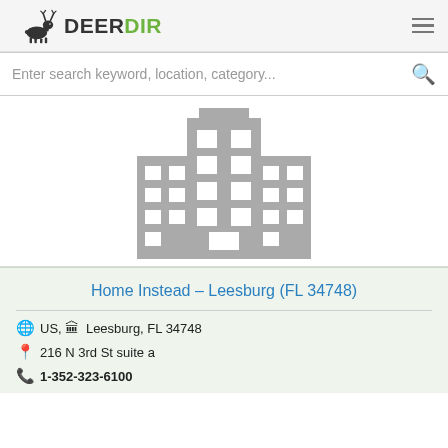DeerDir
Enter search keyword, location, category...
[Figure (illustration): Generic building/office placeholder icon in gray, showing three skyscraper-style buildings with windows]
Home Instead – Leesburg (FL 34748)
US, Leesburg, FL 34748
216 N 3rd St suite a
1-352-323-6100